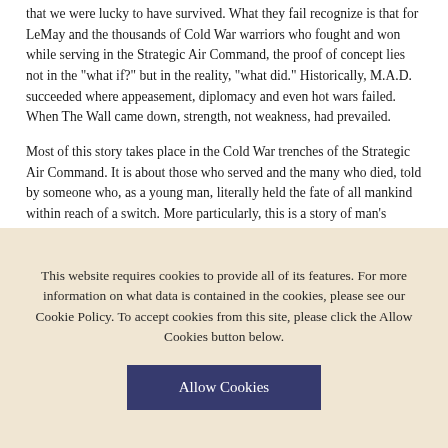that we were lucky to have survived. What they fail recognize is that for LeMay and the thousands of Cold War warriors who fought and won while serving in the Strategic Air Command, the proof of concept lies not in the "what if?" but in the reality, "what did." Historically, M.A.D. succeeded where appeasement, diplomacy and even hot wars failed. When The Wall came down, strength, not weakness, had prevailed.
Most of this story takes place in the Cold War trenches of the Strategic Air Command. It is about those who served and the many who died, told by someone who, as a young man, literally held the fate of all mankind within reach of a switch. More particularly, this is a story of man's interaction with two bombers that changed the course of political history, and were perhaps the most influential aircraft in the annals of aircraft development.
The author piloted and instructed in both the B-47 and the B-52, starting out as
This website requires cookies to provide all of its features. For more information on what data is contained in the cookies, please see our Cookie Policy. To accept cookies from this site, please click the Allow Cookies button below.